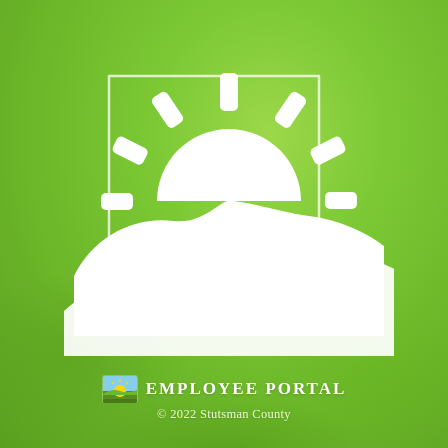[Figure (logo): Stutsman County logo: white outline of North Dakota state shape containing a rising sun with rays and a sweeping landscape curve, all white on green background]
[Figure (logo): Small Stutsman County sunrise icon next to Employee Portal text]
Employee Portal
© 2022 Stutsman County